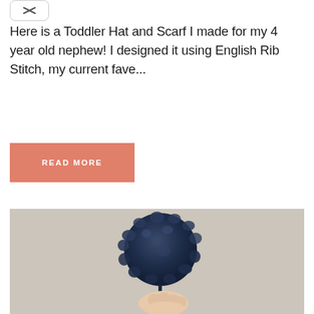[Figure (other): Dismiss/collapse icon button with an X symbol, in a rounded rectangle]
Here is a Toddler Hat and Scarf I made for my 4 year old nephew! I designed it using English Rib Stitch, my current fave...
READ MORE
[Figure (photo): A hand holding a large fluffy navy blue yarn pompom against a cream/beige leather-textured background]